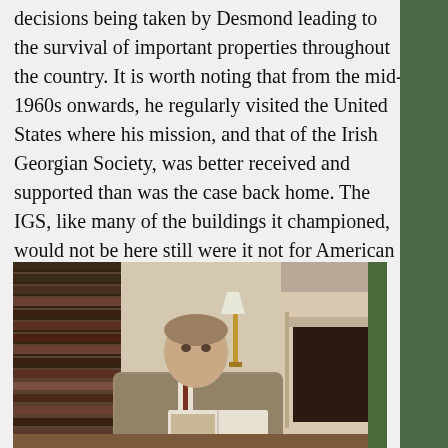decisions being taken by Desmond leading to the survival of important properties throughout the country. It is worth noting that from the mid-1960s onwards, he regularly visited the United States where his mission, and that of the Irish Georgian Society, was better received and supported than was the case back home. The IGS, like many of the buildings it championed, would not be here still were it not for American friends.
[Figure (photo): A man in a tweed jacket sitting at a desk holding an open book or magazine, with bookshelves behind him, a lamp, flowers, and a fireplace in the background. Color photograph.]